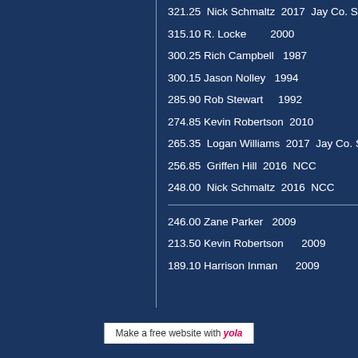321.25  Nick Schmaltz  2017  Jay Co. Sectiona
315.10 R. Locke        2000
300.25 Rich Campbell   1987
300.15 Jason Nolley   1994
285.90 Rob Stewart     1992
274.85 Kevin Robertson  2010
265.35  Logan Williams  2017  Jay Co. Section
256.85  Griffen Hill  2016  NCC
248.00  Nick Schmaltz  2016  NCC
246.00 Zane Parker   2009
213.50 Kevin Robertson      2009
189.10 Harrison Inman       2009
[Figure (logo): Make a free website with yola banner]